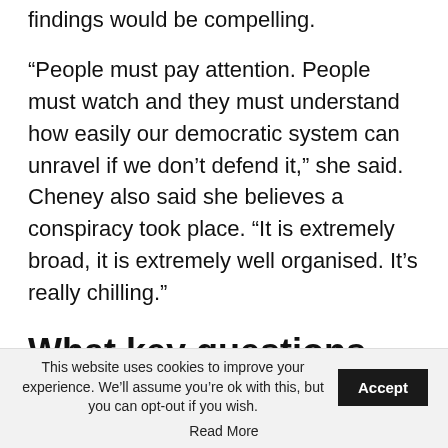findings would be compelling.
“People must pay attention. People must watch and they must understand how easily our democratic system can unravel if we don’t defend it,” she said. Cheney also said she believes a conspiracy took place. “It is extremely broad, it is extremely well organised. It’s really chilling.”
What key questions do people want answered?
This website uses cookies to improve your experience. We’ll assume you’re ok with this, but you can opt-out if you wish. Accept Read More